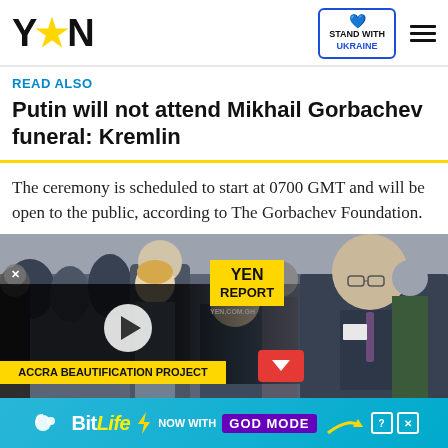YEN — STAND WITH UKRAINE
READ ALSO
Putin will not attend Mikhail Gorbachev funeral: Kremlin
The ceremony is scheduled to start at 0700 GMT and will be open to the public, according to The Gorbachev Foundation.
[Figure (photo): Photo of elderly man in suit (Mikhail Gorbachev) with crowd in background, overlaid with YEN Report video player showing Accra Beautification Project]
[Figure (infographic): BitLife advertisement banner: NOW WITH GOD MODE]